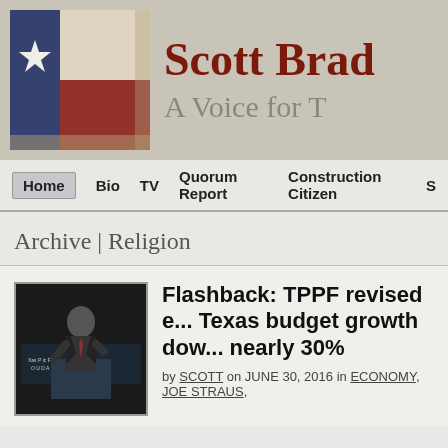[Figure (logo): Scott Bradley website header banner with Texas flag on left and site name 'Scott Brad...' and tagline 'A Voice for T...' on right]
Home  Bio  TV  Quorum Report  Construction Citizen  S...
Archive | Religion
[Figure (photo): Thumbnail photo of a man in a suit standing in front of a sign reading 'Texas Public Policy Foundation']
Flashback: TPPF revised e... Texas budget growth down... nearly 30%
by SCOTT on JUNE 30, 2016 in ECONOMY, JOE STRAUS,